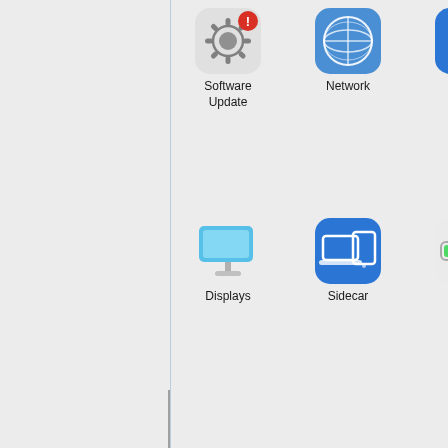[Figure (screenshot): macOS System Preferences window showing icon grid (Software Update, Network, Bluetooth in top row; Displays, Sidecar, Battery in second row) and a Keyboard preferences panel with a list of input sources: U.S. (American flag), Cherokee - Nation, Cherokee - QWERTY. Window chrome shows traffic light buttons and navigation arrows. A vertical blue sidebar separator line is visible on the left portion.]